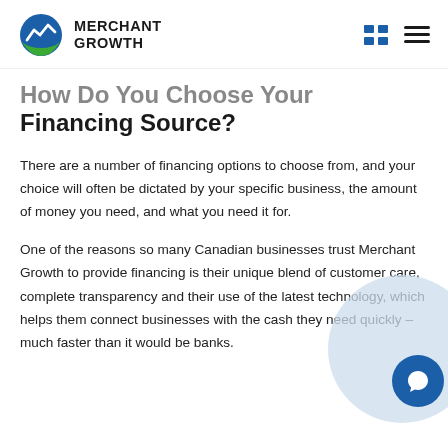MERCHANT GROWTH
How Do You Choose Your Financing Source?
There are a number of financing options to choose from, and your choice will often be dictated by your specific business, the amount of money you need, and what you need it for.
One of the reasons so many Canadian businesses trust Merchant Growth to provide financing is their unique blend of customer care, complete transparency and their use of the latest technology, which helps them connect businesses with the cash they need quickly – much faster than it would be banks.